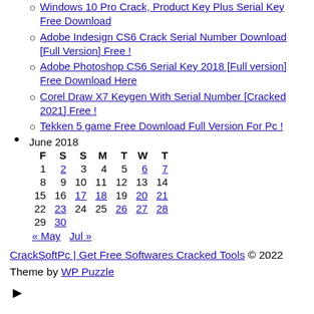Windows 10 Pro Crack, Product Key Plus Serial Key Free Download
Adobe Indesign CS6 Crack Serial Number Download [Full Version] Free !
Adobe Photoshop CS6 Serial Key 2018 [Full version] Free Download Here
Corel Draw X7 Keygen With Serial Number [Cracked 2021] Free !
Tekken 5 game Free Download Full Version For Pc !
| F | S | S | M | T | W | T |
| --- | --- | --- | --- | --- | --- | --- |
| 1 | 2 | 3 | 4 | 5 | 6 | 7 |
| 8 | 9 | 10 | 11 | 12 | 13 | 14 |
| 15 | 16 | 17 | 18 | 19 | 20 | 21 |
| 22 | 23 | 24 | 25 | 26 | 27 | 28 |
| 29 | 30 |  |  |  |  |  |
« May   Jul »
CrackSoftPc | Get Free Softwares Cracked Tools © 2022
Theme by WP Puzzle